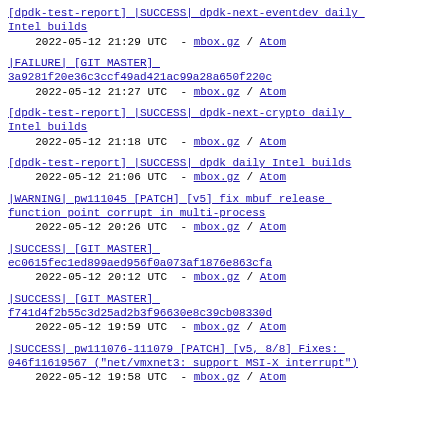[dpdk-test-report] |SUCCESS| dpdk-next-eventdev daily Intel builds
2022-05-12 21:29 UTC - mbox.gz / Atom
|FAILURE| [GIT MASTER] 3a9281f20e36c3ccf49ad421ac99a28a650f220c
2022-05-12 21:27 UTC - mbox.gz / Atom
[dpdk-test-report] |SUCCESS| dpdk-next-crypto daily Intel builds
2022-05-12 21:18 UTC - mbox.gz / Atom
[dpdk-test-report] |SUCCESS| dpdk daily Intel builds
2022-05-12 21:06 UTC - mbox.gz / Atom
|WARNING| pw111045 [PATCH] [v5] fix mbuf release function point corrupt in multi-process
2022-05-12 20:26 UTC - mbox.gz / Atom
|SUCCESS| [GIT MASTER] ec0615fec1ed899aed956f0a073af1876e863cfa
2022-05-12 20:12 UTC - mbox.gz / Atom
|SUCCESS| [GIT MASTER] f741d4f2b55c3d25ad2b3f96630e8c39cb08330d
2022-05-12 19:59 UTC - mbox.gz / Atom
|SUCCESS| pw111076-111079 [PATCH] [v5, 8/8] Fixes: 046f11619567 ("net/vmxnet3: support MSI-X interrupt")
2022-05-12 19:58 UTC - mbox.gz / Atom